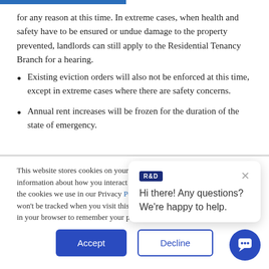for any reason at this time. In extreme cases, when health and safety have to be ensured or undue damage to the property prevented, landlords can still apply to the Residential Tenancy Branch for a hearing.
Existing eviction orders will also not be enforced at this time, except in extreme cases where there are safety concerns.
Annual rent increases will be frozen for the duration of the state of emergency.
This website stores cookies on your browser and are used to collect information about how you interact with our website. Find out more about the cookies we use in our Privacy Policy. If you decline, your information won't be tracked when you visit this website. A single cookie will be used in your browser to remember your preference not to be tracked.